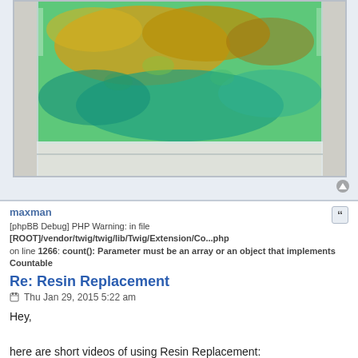[Figure (photo): Close-up photo of a resin-filled container or block showing green and yellow-brown colored material inside a clear glass or plastic frame, sitting on a wooden surface.]
maxman
[phpBB Debug] PHP Warning: in file [ROOT]/vendor/twig/twig/lib/Twig/Extension/Co...php on line 1266: count(): Parameter must be an array or an object that implements Countable
Re: Resin Replacement
Thu Jan 29, 2015 5:22 am
Hey,

here are short videos of using Resin Replacement:
https://www.dropbox.com/s/m6qw2zkfkrxxa ... 3.mp4?dl=0
https://www.dropbox.com/s/q29mzx8m3jndr ... 2.mp4?dl=0
JSmith172